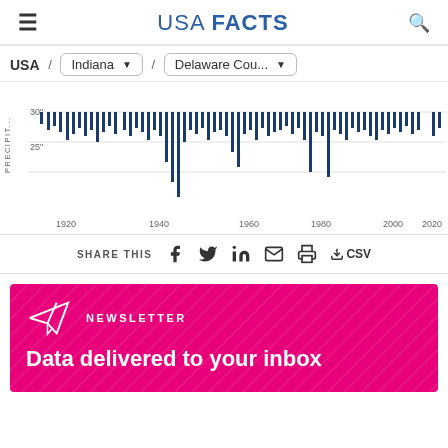USA FACTS
USA / Indiana / Delaware Cou...
[Figure (bar-chart): Bar chart showing annual precipitation in inches for Delaware County, Indiana from approximately 1910 to 2023. Y-axis shows values at 25" and 30". Bars hang downward from a baseline, representing yearly precipitation values.]
SHARE THIS
NEWSLETTER
Data delivered to your inbox